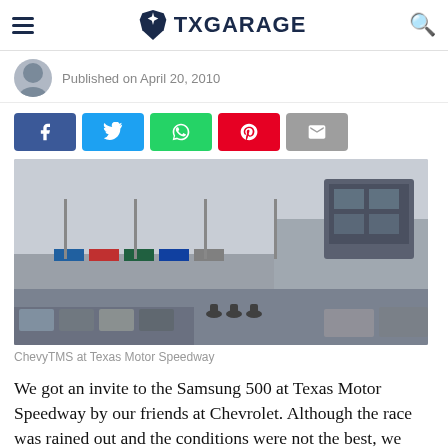TXGARAGE
Published on April 20, 2010
[Figure (screenshot): Social share buttons: Facebook (blue), Twitter (cyan), WhatsApp (green), Pinterest (red), Email (gray)]
[Figure (photo): ChevyTMS at Texas Motor Speedway — wide shot of the speedway facility with grandstands, parking lot, and The Speedway Club building in the background under overcast skies.]
ChevyTMS at Texas Motor Speedway
We got an invite to the Samsung 500 at Texas Motor Speedway by our friends at Chevrolet. Although the race was rained out and the conditions were not the best, we managed to have a great time